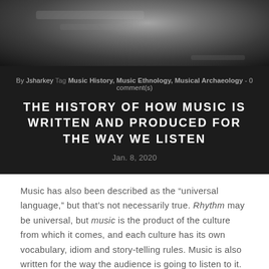[Figure (photo): Dark blurred photo of musical instruments or equipment, used as hero image for blog post]
By Jsharkey Tag Music History, Music Ethnology, Musical Archaeology - 0 comment(s)
THE HISTORY OF HOW MUSIC IS WRITTEN AND PRODUCED FOR THE WAY WE LISTEN
Jan. 8, 2020
Music has also been described as the “universal language,” but that’s not necessarily true. Rhythm may be universal, but music is the product of the culture from which it comes, and each culture has its own vocabulary, idiom and story-telling rules. Music is also written for the way the audience is going to listen to it.
CONTINUE READING